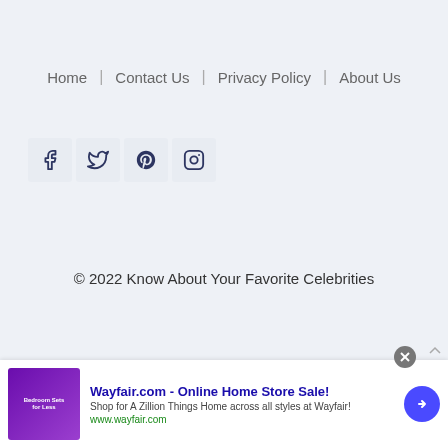Home | Contact Us | Privacy Policy | About Us
[Figure (other): Social media icon buttons: Facebook, Twitter, Pinterest, Instagram in square boxes]
© 2022 Know About Your Favorite Celebrities
[Figure (other): Advertisement banner: Wayfair.com - Online Home Store Sale! Shop for A Zillion Things Home across all styles at Wayfair! www.wayfair.com]